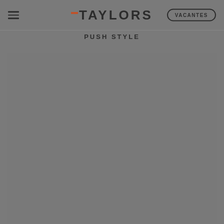TAYLORS | VACANTES
PUSH STYLE
[Figure (photo): Large grey placeholder image area below the PUSH STYLE section header]